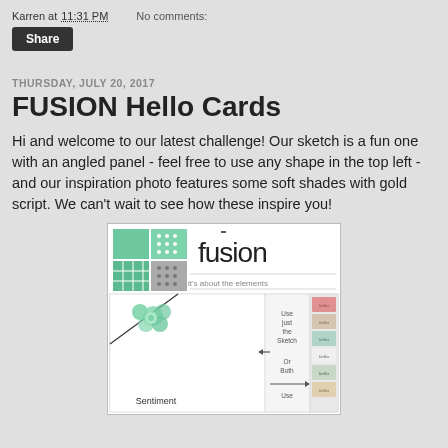Karren at 11:31 PM    No comments:
Share
THURSDAY, JULY 20, 2017
FUSION Hello Cards
Hi and welcome to our latest challenge!  Our sketch is a fun one with an angled panel - feel free to use any shape in the top left - and our inspiration photo features some soft shades with gold script.  We can't wait to see how these inspire you!
[Figure (illustration): Fusion card challenge graphic showing the Fusion logo with teal/green grid squares, the text 'it's about the elements', a sketch panel showing a card layout with angled panel and flower embellishment labeled 'Sentiment', option text 'Use just the Sketch', 'Or Both', 'Use', arrows, and an inspiration photo of multiple 'hello' cards in various colors and styles.]